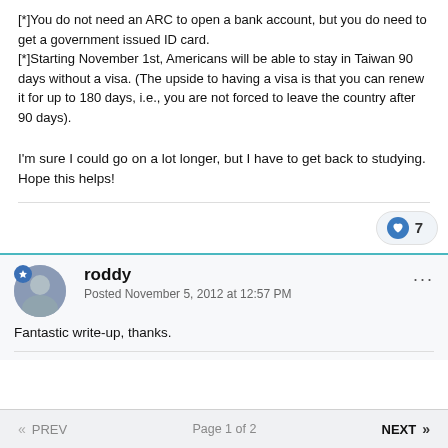[*]You do not need an ARC to open a bank account, but you do need to get a government issued ID card.
[*]Starting November 1st, Americans will be able to stay in Taiwan 90 days without a visa. (The upside to having a visa is that you can renew it for up to 180 days, i.e., you are not forced to leave the country after 90 days).
I'm sure I could go on a lot longer, but I have to get back to studying. Hope this helps!
roddy
Posted November 5, 2012 at 12:57 PM
Fantastic write-up, thanks.
« PREV   Page 1 of 2   NEXT »